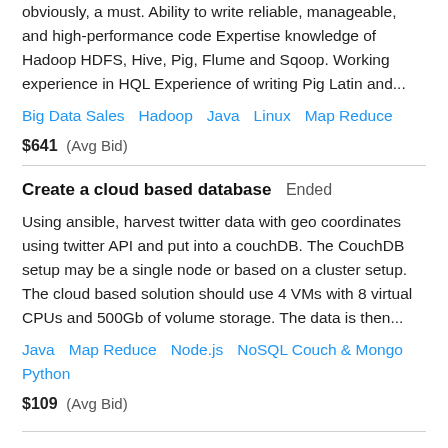obviously, a must. Ability to write reliable, manageable, and high-performance code Expertise knowledge of Hadoop HDFS, Hive, Pig, Flume and Sqoop. Working experience in HQL Experience of writing Pig Latin and...
Big Data Sales   Hadoop   Java   Linux   Map Reduce
$641  (Avg Bid)
Create a cloud based database   Ended
Using ansible, harvest twitter data with geo coordinates using twitter API and put into a couchDB. The CouchDB setup may be a single node or based on a cluster setup. The cloud based solution should use 4 VMs with 8 virtual CPUs and 500Gb of volume storage. The data is then...
Java   Map Reduce   Node.js   NoSQL Couch & Mongo   Python
$109  (Avg Bid)